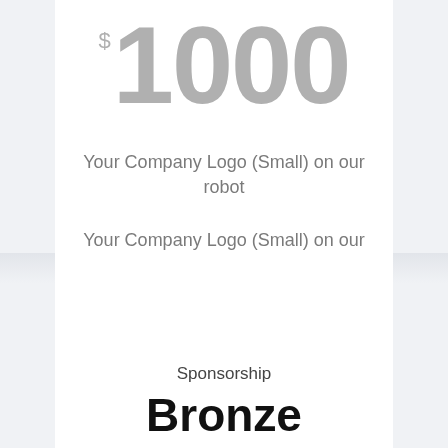$1000
Your Company Logo (Small) on our robot
Your Company Logo (Small) on our season t-shirts
Sponsorship
Bronze